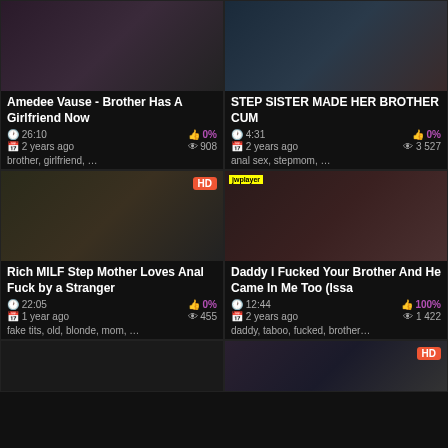[Figure (screenshot): Thumbnail for Amedee Vause video]
Amedee Vause - Brother Has A Girlfriend Now
26:10  0%  2 years ago  908
brother, girlfriend, …
[Figure (screenshot): Thumbnail for STEP SISTER video]
STEP SISTER MADE HER BROTHER CUM
4:31  0%  2 years ago  3 527
anal sex, stepmom, …
[Figure (screenshot): Thumbnail for Rich MILF Step Mother video, HD badge]
Rich MILF Step Mother Loves Anal Fuck by a Stranger
22:05  0%  1 year ago  455
fake tits, old, blonde, mom, …
[Figure (screenshot): Thumbnail for Daddy I Fucked Your Brother video, jwplayer badge]
Daddy I Fucked Your Brother And He Came In Me Too (Issa
12:44  100%  2 years ago  1 422
daddy, taboo, fucked, brother…
[Figure (screenshot): Partial bottom-left thumbnail]
[Figure (screenshot): Partial bottom-right thumbnail with HD badge]